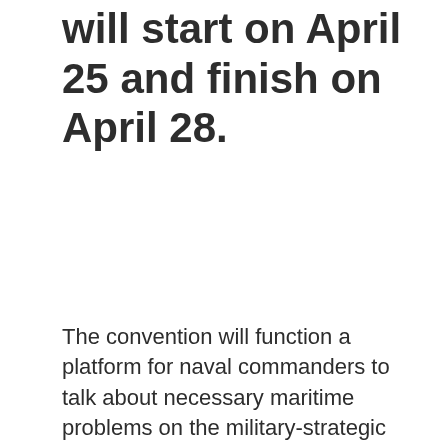will start on April 25 and finish on April 28.
The convention will function a platform for naval commanders to talk about necessary maritime problems on the military-strategic stage. (Photograph: Document | PTI)